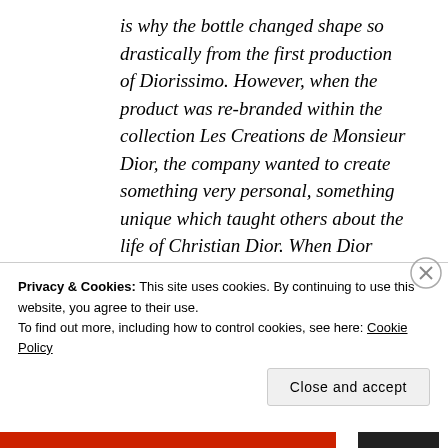is why the bottle changed shape so drastically from the first production of Diorissimo. However, when the product was re-branded within the collection Les Creations de Monsieur Dior, the company wanted to create something very personal, something unique which taught others about the life of Christian Dior. When Dior used to sketch, he had a very special chair which he sat in, a dark grey armchair with a
Privacy & Cookies: This site uses cookies. By continuing to use this website, you agree to their use.
To find out more, including how to control cookies, see here: Cookie Policy
Close and accept